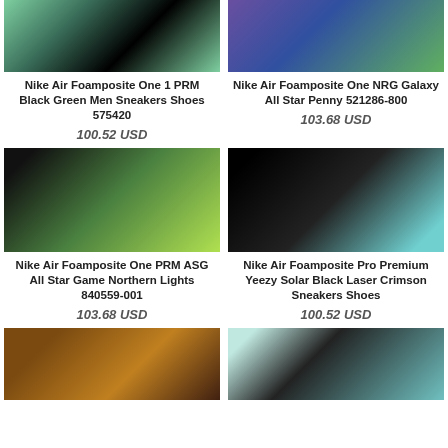[Figure (photo): Nike Air Foamposite One 1 PRM Black Green Men Sneakers Shoes 575420 - shoe image]
Nike Air Foamposite One 1 PRM Black Green Men Sneakers Shoes 575420
100.52 USD
[Figure (photo): Nike Air Foamposite One NRG Galaxy All Star Penny 521286-800 - shoe image]
Nike Air Foamposite One NRG Galaxy All Star Penny 521286-800
103.68 USD
[Figure (photo): Nike Air Foamposite One PRM ASG All Star Game Northern Lights 840559-001 - shoe image]
Nike Air Foamposite One PRM ASG All Star Game Northern Lights 840559-001
103.68 USD
[Figure (photo): Nike Air Foamposite Pro Premium Yeezy Solar Black Laser Crimson Sneakers Shoes - shoe image]
Nike Air Foamposite Pro Premium Yeezy Solar Black Laser Crimson Sneakers Shoes
100.52 USD
[Figure (photo): Brown/gold Nike sneaker - shoe image, partially visible]
[Figure (photo): Black/teal Nike Foamposite sneaker - shoe image, partially visible]